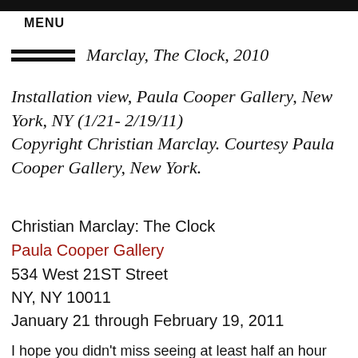MENU
Marclay, The Clock, 2010 Installation view, Paula Cooper Gallery, New York, NY (1/21- 2/19/11) Copyright Christian Marclay. Courtesy Paula Cooper Gallery, New York.
Christian Marclay: The Clock
Paula Cooper Gallery
534 West 21ST Street
NY, NY 10011
January 21 through February 19, 2011
I hope you didn't miss seeing at least half an hour